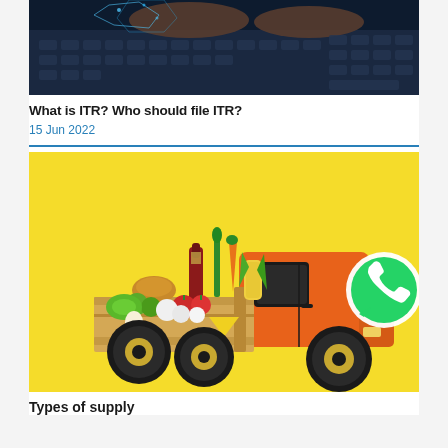[Figure (photo): Hands typing on a laptop keyboard with digital interface overlay, representing online tax filing]
What is ITR? Who should file ITR?
15 Jun 2022
[Figure (photo): Toy orange truck with a wooden crate loaded with grocery items (bread, wine bottle, vegetables, fruits) on a yellow background, with a WhatsApp logo sticker on the truck]
Types of supply